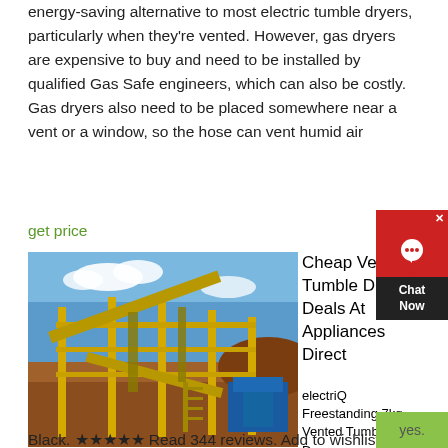energy-saving alternative to most electric tumble dryers, particularly when they're vented. However, gas dryers are expensive to buy and need to be installed by qualified Gas Safe engineers, which can also be costly. Gas dryers also need to be placed somewhere near a vent or a window, so the hose can vent humid air
get price
[Figure (photo): Industrial mining or processing facility with yellow steel framework, conveyor belts, and blue machinery under a blue sky]
Cheap Vented Tumble Dryer Deals At Appliances Direct
electriQ Freestanding 7kg Vented Tumble Dryer Black. ★★★★★ Read 344 reviews. Add to wishlist. 7kg drum capacity great for medium-sized households. Anti-crease mode helps reduce wrinkling. Quiet 69dB Noise Level. 4 Programmes. Dimensions: H84 x W60 x D56 cm. Only £209.97 or £10.08 a month 0% finance available